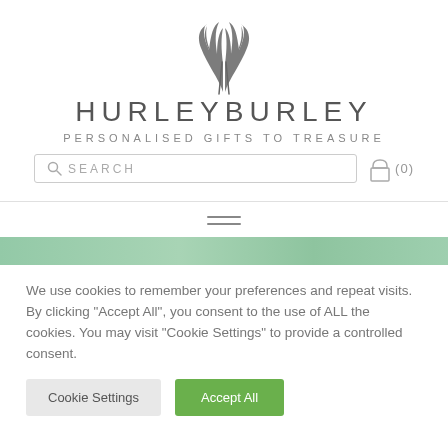[Figure (logo): Hurleyburley angel wings logo - two stylized wings forming a heart shape in dark grey]
HURLEYBURLEY
PERSONALISED GIFTS TO TREASURE
[Figure (screenshot): Search bar with magnifying glass icon and text SEARCH, and cart icon with (0)]
[Figure (screenshot): Hamburger menu icon (three horizontal lines)]
[Figure (photo): Green banner/hero image strip]
We use cookies to remember your preferences and repeat visits. By clicking "Accept All", you consent to the use of ALL the cookies. You may visit "Cookie Settings" to provide a controlled consent.
Cookie Settings
Accept All